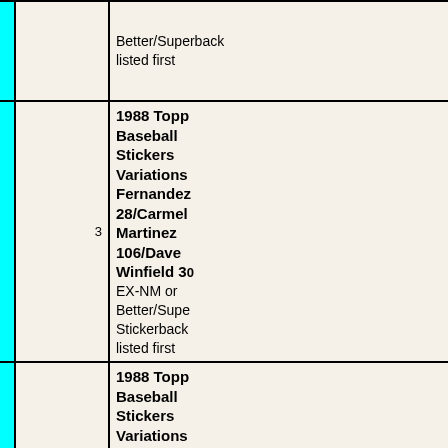| (image) | qty | description |
| --- | --- | --- |
|  |  | Better/Superback listed first |
|  | 3 | 1988 Topps Baseball Stickers Variations Fernandez 28/Carmel Martinez 106/Dave Winfield 30 EX-NM or Better/Superback listed first |
|  | 3 | 1988 Topps Baseball Stickers Variations Fernandez 28/Don Mattingly 2 EX-NM or Better/Superback listed first |
|  |  | 1988 Topp... |